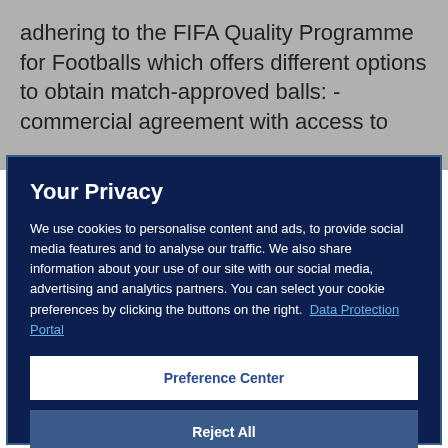adhering to the FIFA Quality Programme for Footballs which offers different options to obtain match-approved balls: - commercial agreement with access to
Your Privacy
We use cookies to personalise content and ads, to provide social media features and to analyse our traffic. We also share information about your use of our site with our social media, advertising and analytics partners. You can select your cookie preferences by clicking the buttons on the right.  Data Protection Portal
Preference Center
Reject All
I'm OK with that